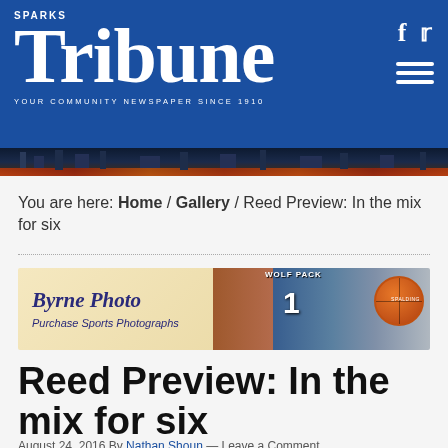SPARKS Tribune — YOUR COMMUNITY NEWSPAPER SINCE 1910
[Figure (photo): City skyline at night with orange and red glow along the horizon]
You are here: Home / Gallery / Reed Preview: In the mix for six
[Figure (photo): Byrne Photo — Purchase Sports Photographs. Ad banner with basketball player in Wolf Pack jersey #1 and basketball.]
Reed Preview: In the mix for six
August 24, 2016 By Nathan Shoun — Leave a Comment